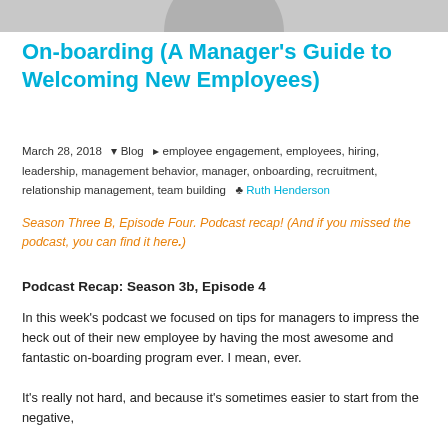[Figure (photo): Partial view of a person's headshot photo, cropped at the bottom of the frame — only the lower portion visible as a grey silhouette shape.]
On-boarding (A Manager’s Guide to Welcoming New Employees)
March 28, 2018  ▾ Blog  ❖ employee engagement, employees, hiring, leadership, management behavior, manager, onboarding, recruitment, relationship management, team building  ♣ Ruth Henderson
Season Three B, Episode Four. Podcast recap! (And if you missed the podcast, you can find it here.)
Podcast Recap: Season 3b, Episode 4
In this week’s podcast we focused on tips for managers to impress the heck out of their new employee by having the most awesome and fantastic on-boarding program ever. I mean, ever.
It’s really not hard, and because it’s sometimes easier to start from the negative,